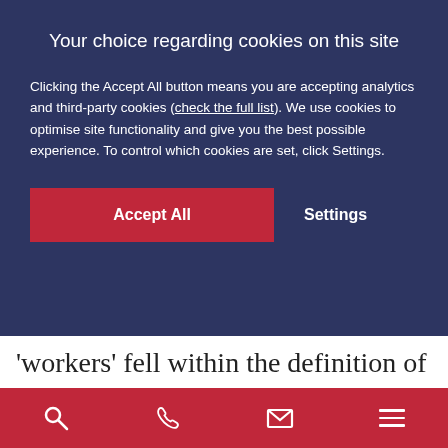Your choice regarding cookies on this site
Clicking the Accept All button means you are accepting analytics and third-party cookies (check the full list). We use cookies to optimise site functionality and give you the best possible experience. To control which cookies are set, click Settings.
Accept All
Settings
'workers' fell within the definition of
Search | Phone | Mail | Menu